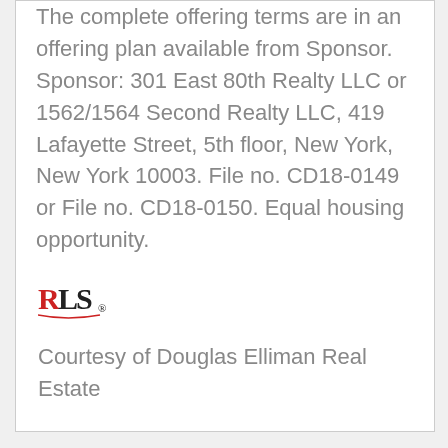The complete offering terms are in an offering plan available from Sponsor. Sponsor: 301 East 80th Realty LLC or 1562/1564 Second Realty LLC, 419 Lafayette Street, 5th floor, New York, New York 10003. File no. CD18-0149 or File no. CD18-0150. Equal housing opportunity.
[Figure (logo): RLS logo - red R, black LS with decorative underline]
Courtesy of Douglas Elliman Real Estate